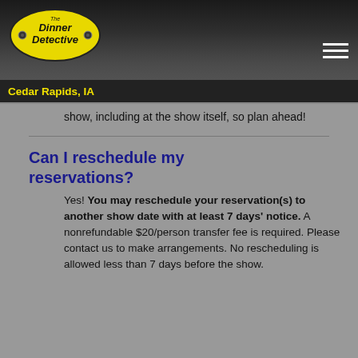The Dinner Detective — Cedar Rapids, IA
show, including at the show itself, so plan ahead!
Can I reschedule my reservations?
Yes! You may reschedule your reservation(s) to another show date with at least 7 days' notice. A nonrefundable $20/person transfer fee is required. Please contact us to make arrangements. No rescheduling is allowed less than 7 days before the show.